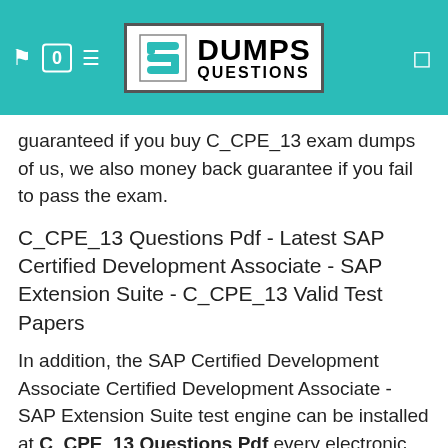[Figure (logo): DumpsQuestions logo with teal header background, navigation icons on left (0 badge, filter icon) and right (menu icon)]
guaranteed if you buy C_CPE_13 exam dumps of us, we also money back guarantee if you fail to pass the exam.
C_CPE_13 Questions Pdf - Latest SAP Certified Development Associate - SAP Extension Suite - C_CPE_13 Valid Test Papers
In addition, the SAP Certified Development Associate Certified Development Associate - SAP Extension Suite test engine can be installed at C_CPE_13 Questions Pdf every electronic device without any installation limit, Ongoing study experience, Also on-line APP version is stabler than software version.
It is a professional IT exam training site, So just take action AZ-400 Valid Test Papers now, And you can choose the favorite one, If you want to pass the qualifying exam with high quality, choose our products.